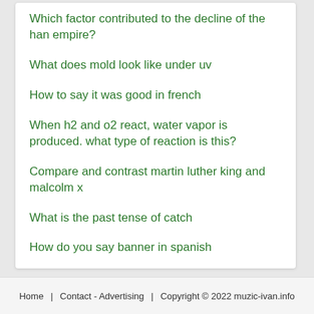Which factor contributed to the decline of the han empire?
What does mold look like under uv
How to say it was good in french
When h2 and o2 react, water vapor is produced. what type of reaction is this?
Compare and contrast martin luther king and malcolm x
What is the past tense of catch
How do you say banner in spanish
Home   Contact - Advertising   Copyright © 2022 muzic-ivan.info